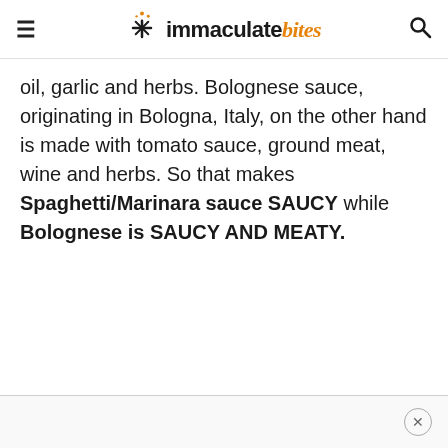immaculate bites
oil, garlic and herbs. Bolognese sauce, originating in Bologna, Italy, on the other hand is made with tomato sauce, ground meat, wine and herbs. So that makes Spaghetti/Marinara sauce SAUCY while Bolognese is SAUCY AND MEATY.